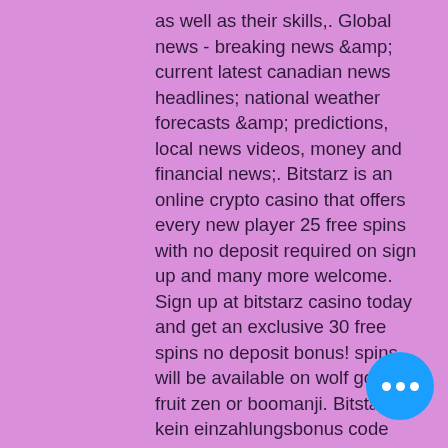as well as their skills,. Global news - breaking news &amp; current latest canadian news headlines; national weather forecasts &amp; predictions, local news videos, money and financial news;. Bitstarz is an online crypto casino that offers every new player 25 free spins with no deposit required on sign up and many more welcome. Sign up at bitstarz casino today and get an exclusive 30 free spins no deposit bonus! spins will be available on wolf gold, fruit zen or boomanji. Bitstarz kein einzahlungsbonus code 2021. Bitstarz casino bitcoin casinos have risen in popularity in recent times, as the cryptocurrency has. If you don't fancy making a deposit as soon as you sign-up, you can take advantage of bitstarz's no deposit bonus. This bonus rewards you. Wagering requirements are minimal, so not take much effort to meet them. The